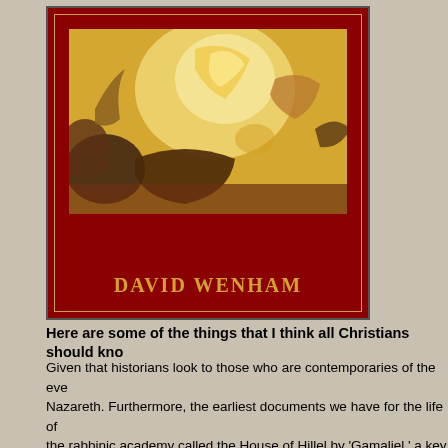[Figure (illustration): Book cover with dark red background and a classical painting depicting figures in dynamic motion with golden/warm tones. Author name 'DAVID WENHAM' in gold letters at bottom of cover.]
Here are some of the things that I think all Christians should kno...
Given that historians look to those who are contemporaries of the eve... Nazareth. Furthermore, the earliest documents we have for the life of... the rabbinic academy called the House of Hillel by 'Gamaliel,' a key ra... scholars have come to have great respect Paul. Allow me to mention...